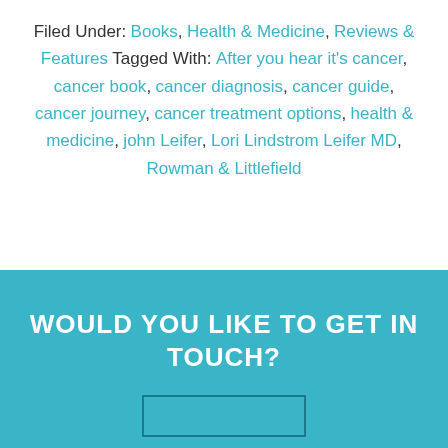Filed Under: Books, Health & Medicine, Reviews & Features Tagged With: After you hear it's cancer, cancer book, cancer diagnosis, cancer guide, cancer journey, cancer treatment options, health & medicine, john Leifer, Lori Lindstrom Leifer MD, Rowman & Littlefield
WOULD YOU LIKE TO GET IN TOUCH?